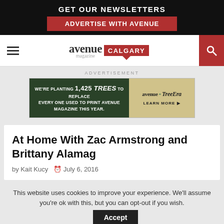GET OUR NEWSLETTERS
ADVERTISE WITH AVENUE
[Figure (logo): Avenue Magazine Calgary logo with hamburger menu and search icon]
ADVERTISEMENT
[Figure (infographic): Advertisement banner: WE'RE PLANTING 1,425 trees TO REPLACE EVERY ONE USED TO PRINT AVENUE MAGAZINE THIS YEAR. avenue x TreeEra LEARN MORE]
At Home With Zac Armstrong and Brittany Alamag
by Kait Kucy  July 6, 2016
This website uses cookies to improve your experience. We'll assume you're ok with this, but you can opt-out if you wish. Accept Privacy Policy